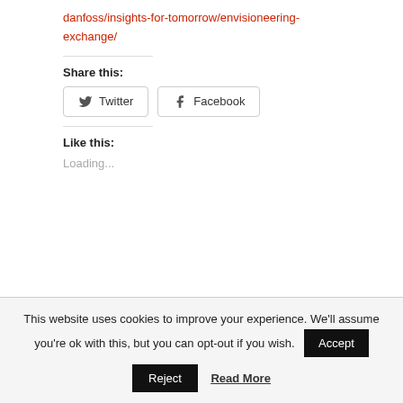danfoss/insights-for-tomorrow/envisioneering-exchange/
Share this:
Twitter  Facebook
Like this:
Loading...
This website uses cookies to improve your experience. We'll assume you're ok with this, but you can opt-out if you wish.  Accept
Reject  Read More